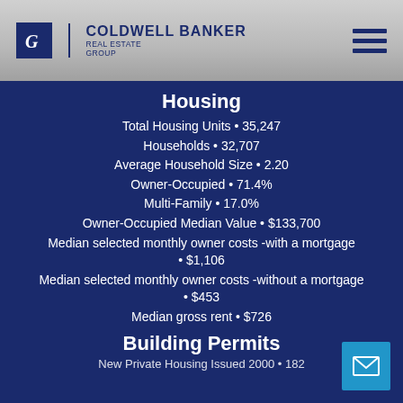COLDWELL BANKER REAL ESTATE GROUP
Housing
Total Housing Units • 35,247
Households • 32,707
Average Household Size • 2.20
Owner-Occupied • 71.4%
Multi-Family • 17.0%
Owner-Occupied Median Value • $133,700
Median selected monthly owner costs -with a mortgage • $1,106
Median selected monthly owner costs -without a mortgage • $453
Median gross rent • $726
Building Permits
New Private Housing Issued 2000 • 182